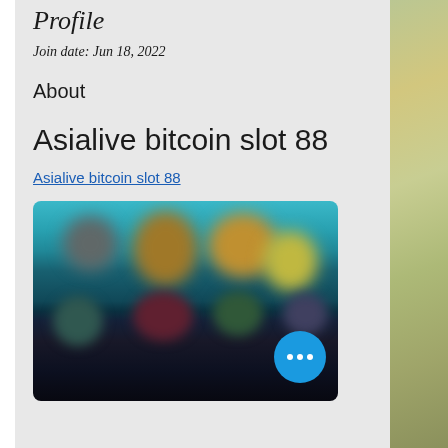Profile
Join date: Jun 18, 2022
About
Asialive bitcoin slot 88
Asialive bitcoin slot 88
[Figure (screenshot): Blurred screenshot of a gaming/casino website interface with colorful game thumbnails and a blue circular more-options button in the bottom right corner]